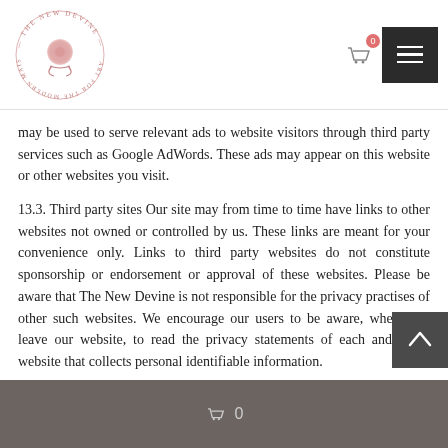The New Devine — Art for the Modern Maison (logo with navigation)
may be used to serve relevant ads to website visitors through third party services such as Google AdWords. These ads may appear on this website or other websites you visit.
13.3. Third party sites Our site may from time to time have links to other websites not owned or controlled by us. These links are meant for your convenience only. Links to third party websites do not constitute sponsorship or endorsement or approval of these websites. Please be aware that The New Devine is not responsible for the privacy practises of other such websites. We encourage our users to be aware, when they leave our website, to read the privacy statements of each and every website that collects personal identifiable information.
0